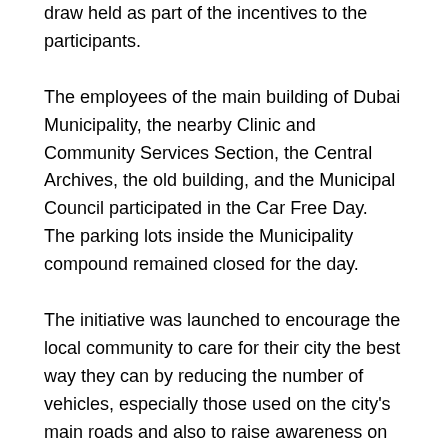draw held as part of the incentives to the participants.
The employees of the main building of Dubai Municipality, the nearby Clinic and Community Services Section, the Central Archives, the old building, and the Municipal Council participated in the Car Free Day.  The parking lots inside the Municipality compound remained closed for the day.
The initiative was launched to encourage the local community to care for their city the best way they can by reducing the number of vehicles, especially those used on the city's main roads and also to raise awareness on alternative means of transport.
A detailed report about the result of implementing the initiative, which will include statistics on the volume of carbon dioxide emission reduced, is being prepared by the municipality.